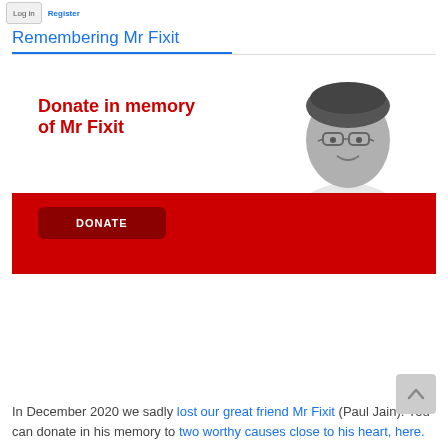Log in   Register
Remembering Mr Fixit
[Figure (photo): Donation banner with text 'Donate in memory of Mr Fixit' in red on white background with a black-and-white photo of a smiling man with glasses and arms crossed, and a dark red DONATE button on a red strip at the bottom.]
In December 2020 we sadly lost our great friend Mr Fixit (Paul Jain). You can donate in his memory to two worthy causes close to his heart, here.